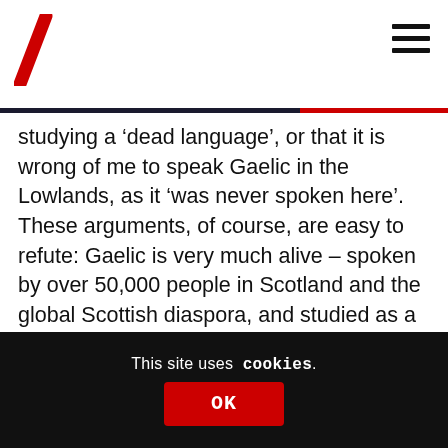[Figure (logo): Red diagonal backslash logo (The Conversation / similar outlet)]
studying a ‘dead language’, or that it is wrong of me to speak Gaelic in the Lowlands, as it ‘was never spoken here’. These arguments, of course, are easy to refute: Gaelic is very much alive – spoken by over 50,000 people in Scotland and the global Scottish diaspora, and studied as a conversational language by hundreds of thousands of language learners worldwide. As to the geographical range of the
This site uses cookies.
OK